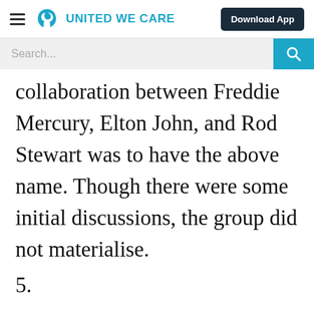UNITED WE CARE | Download App
Search...
collaboration between Freddie Mercury, Elton John, and Rod Stewart was to have the above name. Though there were some initial discussions, the group did not materialise.
5.